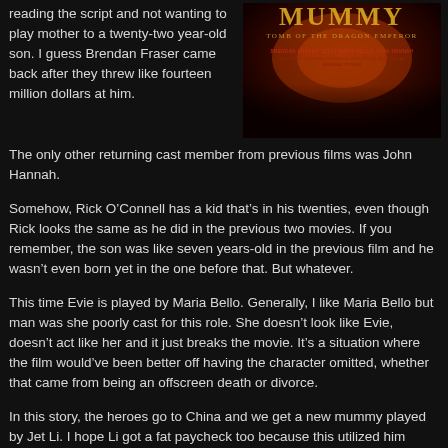reading the script and not wanting to play mother to a twenty-two year-old son. I guess Brendan Fraser came back after they threw like fourteen million dollars at him.
[Figure (photo): Movie poster for The Mummy: Tomb of the Dragon Emperor with dark red and orange tones, featuring the title text in gold lettering]
The only other returning cast member from previous films was John Hannah.
Somehow, Rick O’Connell has a kid that’s in his twenties, even though Rick looks the same as he did in the previous two movies. If you remember, the son was like seven years-old in the previous film and he wasn’t even born yet in the one before that. But whatever.
This time Evie is played by Maria Bello. Generally, I like Maria Bello but man was she poorly cast for this role. She doesn’t look like Evie, doesn’t act like her and it just breaks the movie. It’s a situation where the film would’ve been better off having the character omitted, whether that came from being an offscreen death or divorce.
In this story, the heroes go to China and we get a new mummy played by Jet Li. I hope Li got a fat paycheck too because this utilized him poorly.
Additionally, the special effects seem like they’re worse than they were in the previous movies.